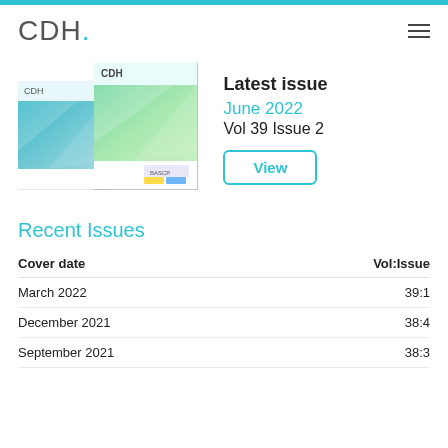CDH.
[Figure (illustration): Two CDH journal magazine covers side by side. The back cover has a teal/blue gradient geometric design. The front cover has a green gradient geometric design with BASCP logo at bottom right.]
Latest issue
June 2022
Vol 39 Issue 2
View
Recent Issues
| Cover date | Vol:Issue |
| --- | --- |
| March 2022 | 39:1 |
| December 2021 | 38:4 |
| September 2021 | 38:3 |